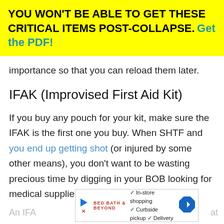YOU WON'T BE ABLE TO GET THESE CRITICAL ITEMS POST-COLLAPSE. Get the PDF!
importance so that you can reload them later.
IFAK (Improvised First Aid Kit)
If you buy any pouch for your kit, make sure the IFAK is the first one you buy. When SHTF and you end up getting shot (or injured by some other means), you don't want to be wasting precious time by digging in your BOB looking for medical supplies.
[Figure (screenshot): Advertisement banner with play button, brand logo, in-store shopping / curbside pickup / delivery checkmarks, and directional arrow icon]
An IFA at